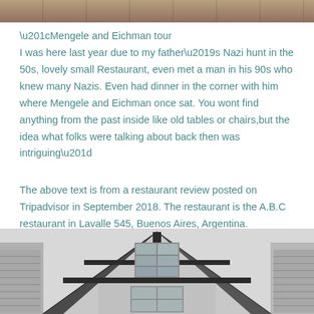[Figure (photo): Partial top edge of a photograph, showing a colorful outdoor scene, cropped at the top of the page.]
“Mengele and Eichman tour
I was here last year due to my father’s Nazi hunt in the 50s, lovely small Restaurant, even met a man in his 90s who knew many Nazis. Even had dinner in the corner with him where Mengele and Eichman once sat. You wont find anything from the past inside like old tables or chairs,but the idea what folks were talking about back then was intriguing”
The above text is from a restaurant review posted on Tripadvisor in September 2018. The restaurant is the A.B.C restaurant in Lavalle 545, Buenos Aires, Argentina.
[Figure (photo): Black and white photograph of an old European-style building facade, showing a triangular roof gable with a window, wooden beams, and louvered shutters on the sides.]